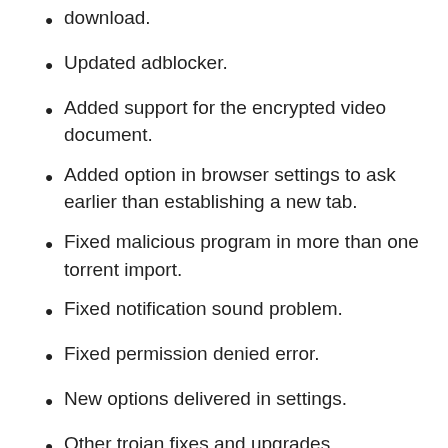download.
Updated adblocker.
Added support for the encrypted video document.
Added option in browser settings to ask earlier than establishing a new tab.
Fixed malicious program in more than one torrent import.
Fixed notification sound problem.
Fixed permission denied error.
New options delivered in settings.
Other trojan fixes and upgrades.
Pause and resume feature for the existing downloads.
The schedule feature helps us download the files on our time.
Download accelerator feature speeds up our downloads up to 7 times.